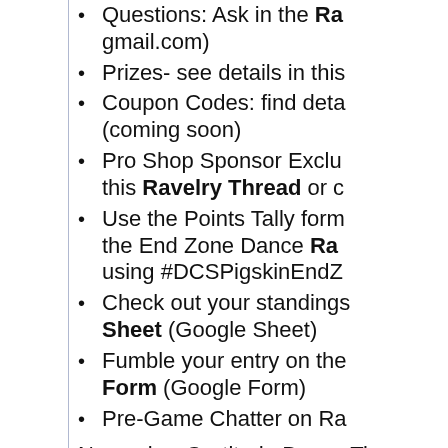Questions: Ask in the Ra... gmail.com)
Prizes- see details in this...
Coupon Codes: find deta... (coming soon)
Pro Shop Sponsor Exclu... this Ravelry Thread or c...
Use the Points Tally form... the End Zone Dance Ra... using #DCSPigskinEndZ...
Check out your standings... Sheet (Google Sheet)
Fumble your entry on the... Form (Google Form)
Pre-Game Chatter on Ra...
November Gratitude Bonus Tic... by going to the Points Tally F... Bonus Ticket option by 12/1/2... Winner for November Intercep... share winner on next episode.
Fancy Footwork Challen... or Website Link
Check out Shana's Rav...